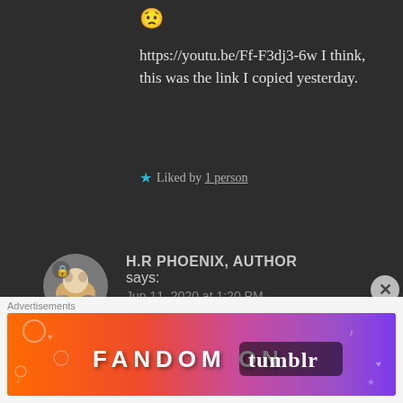😟
https://youtu.be/Ff-F3dj3-6w I think, this was the link I copied yesterday.
★ Liked by 1 person
H.R PHOENIX, AUTHOR says:
Jun 11, 2020 at 1:20 PM
Oh, thanks ❤
[Figure (illustration): Fandom on Tumblr advertisement banner with colorful gradient background]
Advertisements